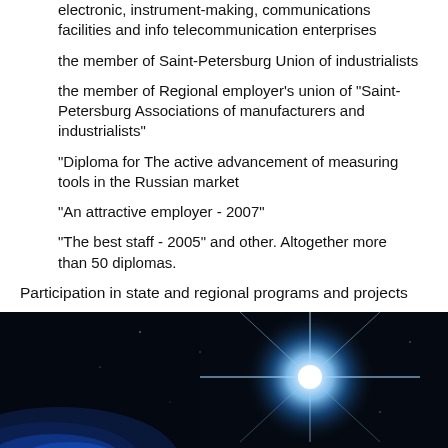electronic, instrument-making, communications facilities and info telecommunication enterprises
the member of Saint-Petersburg Union of industrialists
the member of Regional employer's union of "Saint-Petersburg Associations of manufacturers and industrialists"
"Diploma for The active advancement of measuring tools in the Russian market
"An attractive employer - 2007"
"The best staff - 2005" and other. Altogether more than 50 diplomas.
Participation in state and regional programs and projects
[Figure (photo): Dark space/night sky photo with a bright star burst of light (blue/white light) and a hint of Earth's atmosphere or horizon in blue at the lower left.]